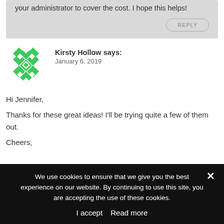your administrator to cover the cost. I hope this helps!
REPLY
[Figure (logo): Green geometric diamond/quilt pattern avatar icon for Kirsty Hollow]
Kirsty Hollow says:
January 6, 2019
Hi Jennifer,
Thanks for these great ideas! I'll be trying quite a few of them out.
Cheers,
We use cookies to ensure that we give you the best experience on our website. By continuing to use this site, you are accepting the use of these cookies.
I accept  Read more